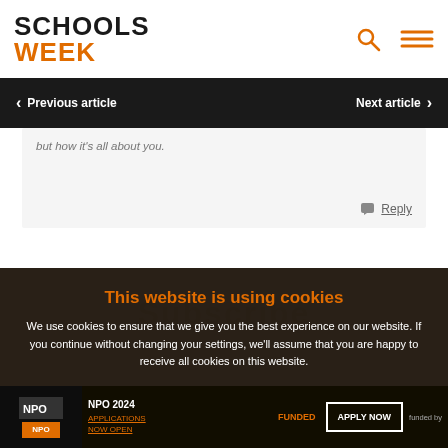SCHOOLS WEEK
Previous article
Next article
but how it's all about you.
Reply
This website is using cookies
We use cookies to ensure that we give you the best experience on our website. If you continue without changing your settings, we'll assume that you are happy to receive all cookies on this website.
Accept / Learn More
NPO 2024 APPLICATIONS NOW OPEN / FUNDED / APPLY NOW